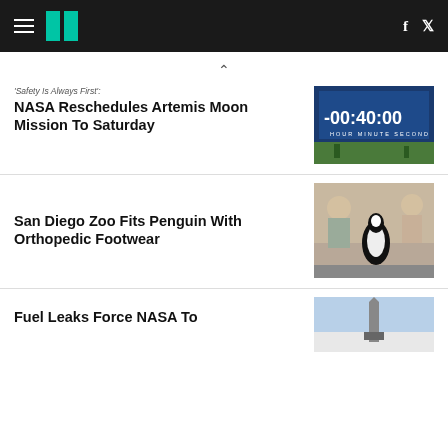HuffPost navigation with hamburger menu, logo, Facebook and Twitter icons
'Safety Is Always First': NASA Reschedules Artemis Moon Mission To Saturday
[Figure (photo): Countdown clock display showing -00:40:00 with HOUR MINUTE SECOND labels, people visible in background on grass]
San Diego Zoo Fits Penguin With Orthopedic Footwear
[Figure (photo): Two zoo workers crouching next to a penguin on a concrete surface]
Fuel Leaks Force NASA To